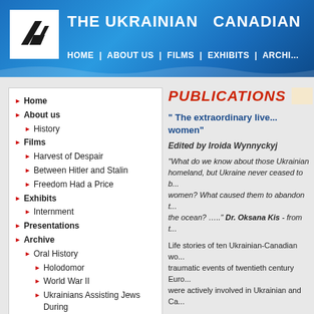THE UKRAINIAN CANADIAN | HOME | ABOUT US | FILMS | EXHIBITS | ARCHI...
Home
About us
History
Films
Harvest of Despair
Between Hitler and Stalin
Freedom Had a Price
Exhibits
Internment
Presentations
Archive
Oral History
Holodomor
World War II
Ukrainians Assisting Jews During
PUBLICATIONS
" The extraordinary live... women"
Edited by Iroida Wynnyckyj
"What do we know about those Ukrainian... homeland, but Ukraine never ceased to b... women? What caused them to abandon t... the ocean? ….." Dr. Oksana Kis - from t...
Life stories of ten Ukrainian-Canadian wo... traumatic events of twentieth century Euro... were actively involved in Ukrainian and Ca...